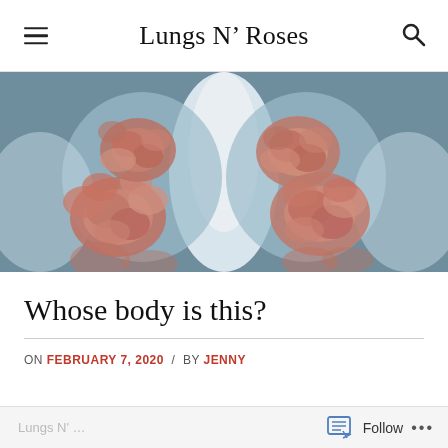Lungs N' Roses
[Figure (photo): X-ray image of a chest with roses superimposed over the lung areas, showing pink/salmon colored roses against the blue-grey X-ray background.]
Whose body is this?
ON FEBRUARY 7, 2020 / BY JENNY
Follow ...